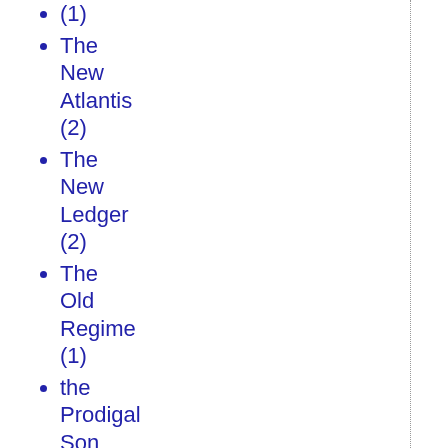(1)
The New Atlantis (2)
The New Ledger (2)
The Old Regime (1)
the Prodigal Son (1)
the Sixties (3)
The Transom (2)
the Wilderness